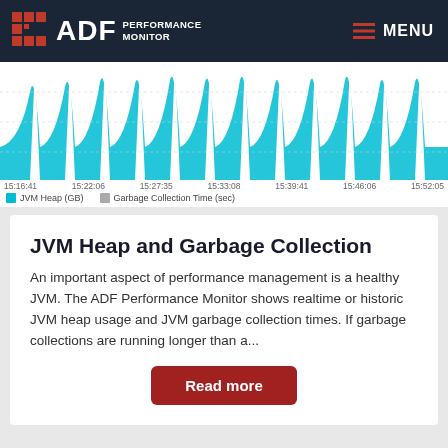ADF PERFORMANCE MONITOR  MENU
[Figure (area-chart): Area chart showing JVM Heap (GB) in cyan/teal and Garbage Collection Time (sec) as spikes over time from 15:16:41 to 15:52:05]
15:16:41  15:22:06  15:27:35  15:33:08  15:39:41  15:46:06  15:52:05
JVM Heap (GB)  Garbage Collection Time (sec)
JVM Heap and Garbage Collection
An important aspect of performance management is a healthy JVM. The ADF Performance Monitor shows realtime or historic JVM heap usage and JVM garbage collection times. If garbage collections are running longer than a...
Read more